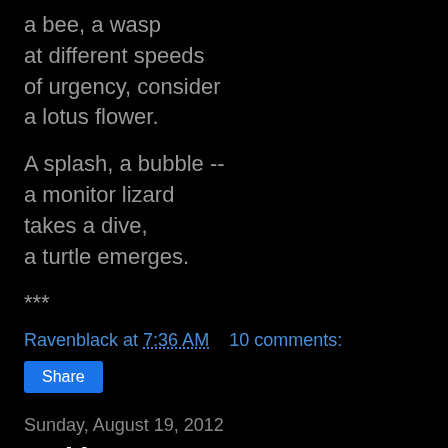a bee, a wasp
at different speeds
of urgency, consider
a lotus flower.
A splash, a bubble --
a monitor lizard
takes a dive,
a turtle emerges.
***
Ravenblack at 7:36 AM    10 comments:
Share
Sunday, August 19, 2012
Waking